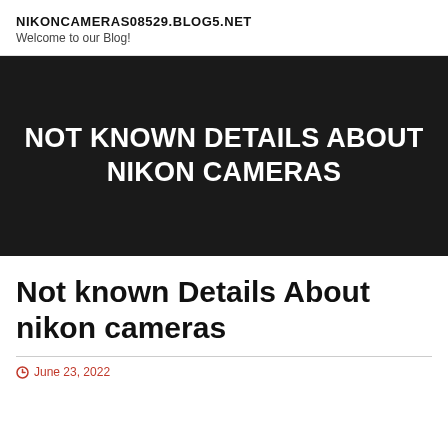NIKONCAMERAS08529.BLOG5.NET
Welcome to our Blog!
[Figure (other): Dark banner with white bold text reading NOT KNOWN DETAILS ABOUT NIKON CAMERAS]
Not known Details About nikon cameras
June 23, 2022